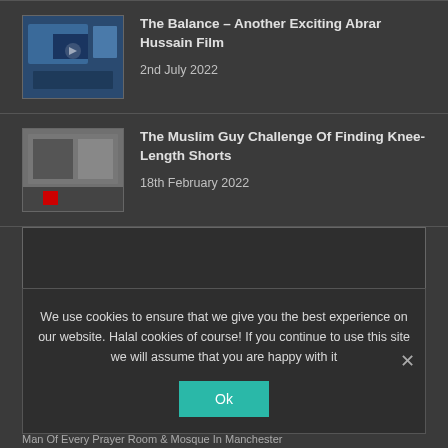[Figure (photo): Thumbnail image for article about The Balance film]
The Balance – Another Exciting Abrar Hussain Film
2nd July 2022
[Figure (photo): Thumbnail image for article about Muslim Guy Challenge knee-length shorts]
The Muslim Guy Challenge Of Finding Knee-Length Shorts
18th February 2022
[Figure (other): Embedded video player area, dark background]
We use cookies to ensure that we give you the best experience on our website. Halal cookies of course! If you continue to use this site we will assume that you are happy with it
Ok
Man Of Every Prayer Room & Mosque In Manchester